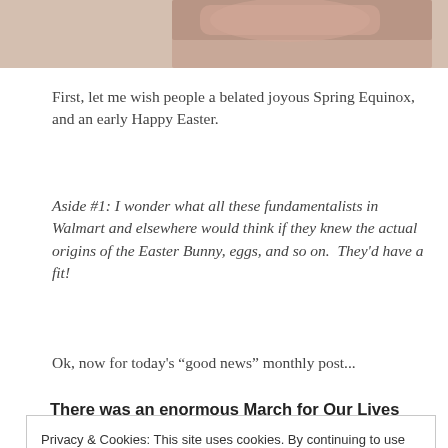[Figure (photo): Partial photo visible at top of page, cropped — shows what appears to be a person, warm skin tones]
First, let me wish people a belated joyous Spring Equinox, and an early Happy Easter.
Aside #1: I wonder what all these fundamentalists in Walmart and elsewhere would think if they knew the actual origins of the Easter Bunny, eggs, and so on.  They'd have a fit!
Ok, now for today's “good news” monthly post...
There was an enormous March for Our Lives last
Privacy & Cookies: This site uses cookies. By continuing to use this website, you agree to their use.
To find out more, including how to control cookies, see here: Cookie Policy
Close and accept